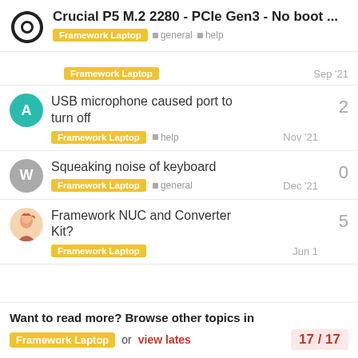Crucial P5 M.2 2280 - PCIe Gen3 - No boot ...
Framework Laptop  Sep '21
USB microphone caused port to turn off — Framework Laptop  help  Nov '21  2
Squeaking noise of keyboard — Framework Laptop  general  Dec '21  0
Framework NUC and Converter Kit? — Framework Laptop  Jun 1  5
Want to read more? Browse other topics in Framework Laptop or view lates  17 / 17